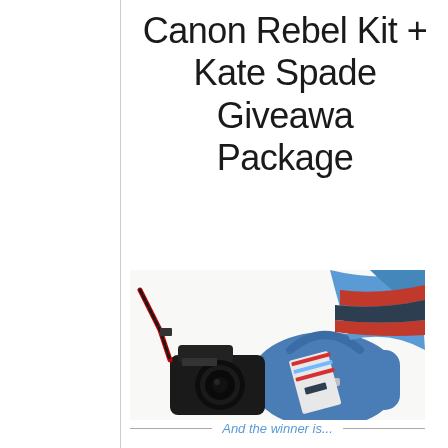Canon Rebel Kit + Kate Spade Giveaway Package
[Figure (photo): Flat lay photo on white fur rug showing a Canon DSLR camera with strap, a blue Kate Spade handbag, a striped pink and blue notebook, and a colorful blue/red/black patterned scarf or clothing item]
And the winner is...